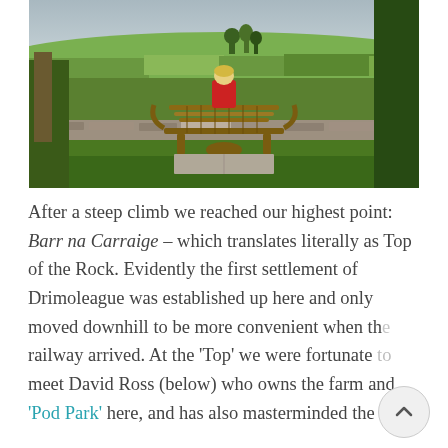[Figure (photo): Person in a red jacket sitting on a wooden bench overlooking green rolling fields and a distant village, framed by hedges and stone walls, overcast sky.]
After a steep climb we reached our highest point: Barr na Carraige – which translates literally as Top of the Rock. Evidently the first settlement of Drimoleague was established up here and only moved downhill to be more convenient when the railway arrived. At the 'Top' we were fortunate to meet David Ross (below) who owns the farm and 'Pod Park' here, and has also masterminded the